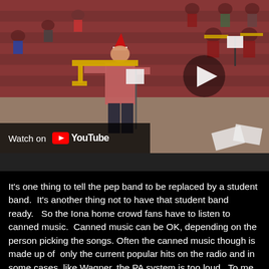[Figure (photo): Video thumbnail showing a person playing trombone wearing a red sweater and Santa hat in what appears to be a gymnasium or arena with bleachers. Other band members are visible in the background. A YouTube play button overlay is visible in the center-right. A 'Watch on YouTube' overlay bar is at the bottom left of the image.]
It's one thing to tell the pep band to be replaced by a student band.  It's another thing not to have that student band ready.    So the Iona home crowd fans have to listen to canned music.  Canned music can be OK, depending on the person picking the songs. Often the canned music though is made up of  only the current popular hits on the radio and in some cases, like Wagner, the PA system is too loud.  To me, nothing beats a live band playing a unique, fun set, especially with a great brass section, like the Iona Pep Band